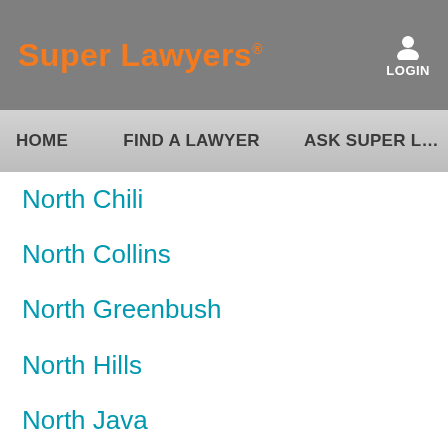Super Lawyers® LOGIN
HOME   FIND A LAWYER   ASK SUPER L…
North Chili
North Collins
North Greenbush
North Hills
North Java
North Lindenhurst
North Massapequa